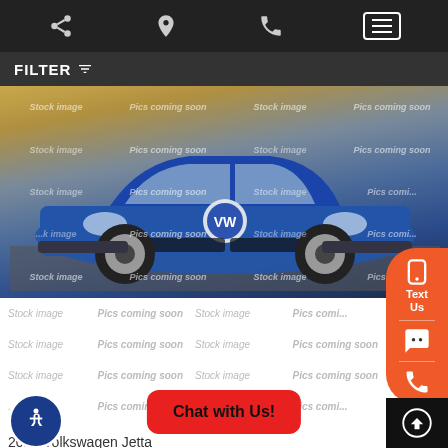Navigation bar with share, location, phone, and menu icons
FILTER
[Figure (photo): Blue Volkswagen Jetta sedan stock image with watermark grid overlay showing 'Stock image' and 'Pics coming soon' text repeated across the photo]
Stock image | Pics coming soon | Stock image | Pics coming soon (repeated grid)
Chat with Us!
2019 Volkswagen Jetta